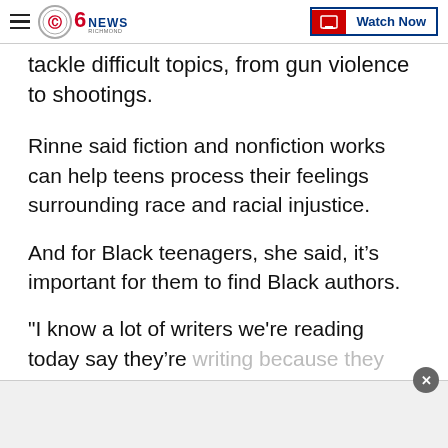CBS 6 News Richmond — Watch Now
tackle difficult topics, from gun violence to shootings.
Rinne said fiction and nonfiction works can help teens process their feelings surrounding race and racial injustice.
And for Black teenagers, she said, it's important for them to find Black authors.
"I know a lot of writers we're reading today say they're writing because they didn't see anybody like